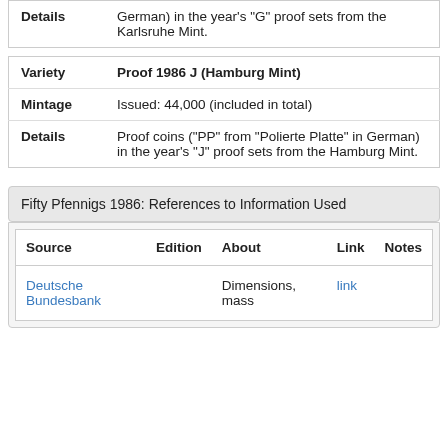| Details | German) in the year's "G" proof sets from the Karlsruhe Mint. |
| Variety | Proof 1986 J (Hamburg Mint) |
| Mintage | Issued: 44,000 (included in total) |
| Details | Proof coins ("PP" from "Polierte Platte" in German) in the year's "J" proof sets from the Hamburg Mint. |
Fifty Pfennigs 1986: References to Information Used
| Source | Edition | About | Link | Notes |
| --- | --- | --- | --- | --- |
| Deutsche Bundesbank |  | Dimensions, mass | link |  |